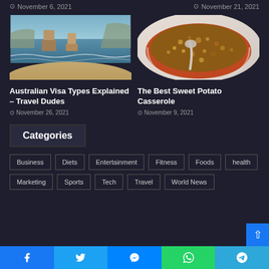November 6, 2021
November 21, 2021
[Figure (photo): Coastal rock formations with ocean waves, possibly the Twelve Apostles in Australia]
[Figure (photo): Sweet potato casserole dish with crumble topping in a white dish]
Australian Visa Types Explained – Travel Dudes
November 26, 2021
The Best Sweet Potato Casserole
November 9, 2021
Categories
Business
Diets
Entertainment
Fitness
Foods
health
Marketing
Sports
Tech
Travel
World News